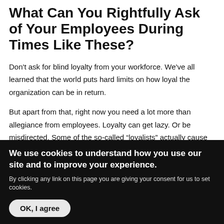What Can You Rightfully Ask of Your Employees During Times Like These?
Don't ask for blind loyalty from your workforce. We've all learned that the world puts hard limits on how loyal the organization can be in return.
But apart from that, right now you need a lot more than allegiance from employees. Loyalty can get lazy. Or be misdirected. Some of the so-called “loyalists” actually cause big problems, because they resist change and try to perpetuate an
We use cookies to understand how you use our site and to improve your experience.
By clicking any link on this page you are giving your consent for us to set cookies.
OK, I agree